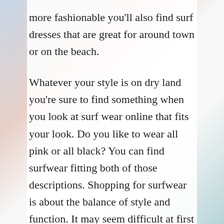more fashionable you'll also find surf dresses that are great for around town or on the beach. Whatever your style is on dry land you're sure to find something when you look at surf wear online that fits your look. Do you like to wear all pink or all black? You can find surfwear fitting both of those descriptions. Shopping for surfwear is about the balance of style and function. It may seem difficult at first but eventually you'll find the perfect equipment that will keep you safe and comfortable while you look great and have fun. And in the end that's pretty much what surfing is all about.